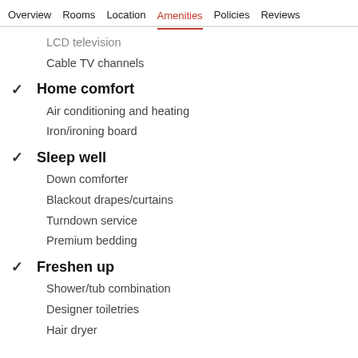Overview   Rooms   Location   Amenities   Policies   Reviews
LCD television
Cable TV channels
Home comfort
Air conditioning and heating
Iron/ironing board
Sleep well
Down comforter
Blackout drapes/curtains
Turndown service
Premium bedding
Freshen up
Shower/tub combination
Designer toiletries
Hair dryer